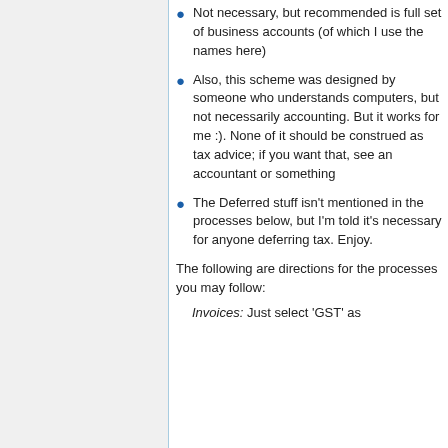Not necessary, but recommended is full set of business accounts (of which I use the names here)
Also, this scheme was designed by someone who understands computers, but not necessarily accounting. But it works for me :). None of it should be construed as tax advice; if you want that, see an accountant or something
The Deferred stuff isn't mentioned in the processes below, but I'm told it's necessary for anyone deferring tax. Enjoy.
The following are directions for the processes you may follow:
Invoices: Just select 'GST' as...